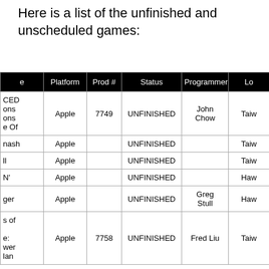Here is a list of the unfinished and unscheduled games:
| e | Platform | Prod # | Status | Programmer | Lo |
| --- | --- | --- | --- | --- | --- |
| CED
ons
ons
e Of | Apple | 7749 | UNFINISHED | John Chow | Taiw |
| nash | Apple |  | UNFINISHED |  | Taiw |
| ll | Apple |  | UNFINISHED |  | Taiw |
| N' | Apple |  | UNFINISHED |  | Haw |
| ger | Apple |  | UNFINISHED | Greg Stull | Haw |
| s of

e:
wer
lan | Apple | 7758 | UNFINISHED | Fred Liu | Taiw |